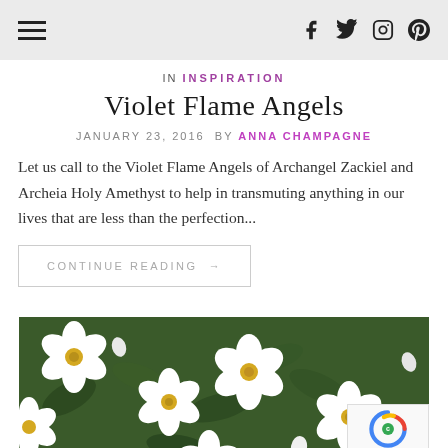Navigation header with hamburger menu and social icons (f, Twitter, Instagram, Pinterest)
In INSPIRATION
Violet Flame Angels
JANUARY 23, 2016  By  ANNA CHAMPAGNE
Let us call to the Violet Flame Angels of Archangel Zackiel and Archeia Holy Amethyst to help in transmuting anything in our lives that are less than the perfection...
CONTINUE READING →
[Figure (photo): White flowers with yellow centers against green foliage background]